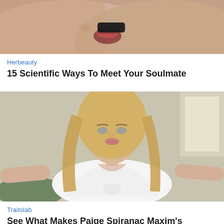[Figure (photo): Close-up photo of two people about to kiss, showing lips and faces from nose down]
Herbeauty
15 Scientific Ways To Meet Your Soulmate
[Figure (photo): Photo of a blonde woman in a white tied crop top posing with arms spread out]
Traitslab
See What Makes Paige Spiranac Maxim's 'Sexiest